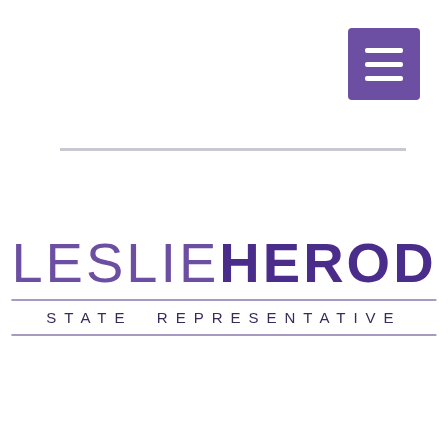[Figure (logo): Menu button icon (hamburger icon) with three white horizontal bars on a purple/violet square background, positioned top-right]
[Figure (logo): Leslie Herod State Representative logo. 'LESLIE' in light-weight purple letters followed by 'HEROD' in bold dark purple letters, with 'STATE REPRESENTATIVE' in spaced small caps below, flanked by horizontal rules.]